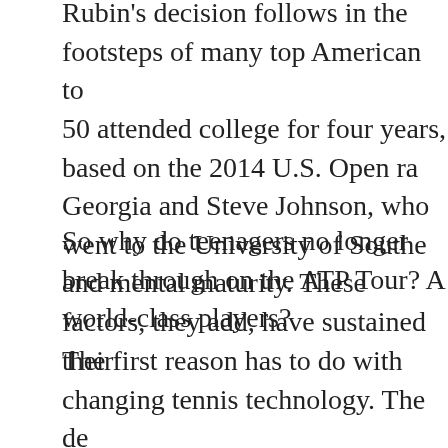Rubin's decision follows in the footsteps of many top American to 50 attended college for four years, based on the 2014 U.S. Open ra Georgia and Steve Johnson, who went to the University of Southe and mental maturity. These factors, they add, have sustained their
So why do teenagers no longer break through on the ATP Tour? A world-class players?
The first reason has to do with changing tennis technology. The de longer rallies, making each point and match more physically exha made of heavy-weight titanium and aluminum. Now, rackets are c combine racket head acceleration and power. While strings receiv players strung their rackets with natural gut — yes, cat guts. Now, generate greater power, control and rotation. Rafael Nadal's Babo polyester string designed to enhance ball revolutions and speed th monofilament strings.
Twenty years ago, top players like Pete Sampras blasted serves an inferior technology, finishing points from the baseline was not fo